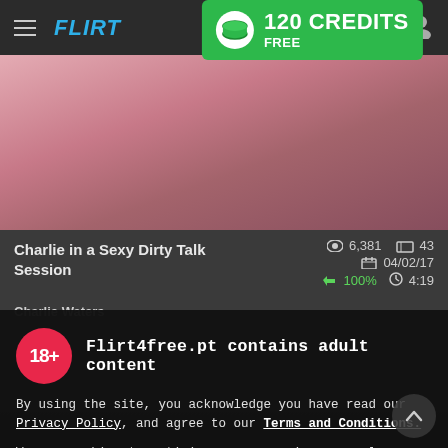FLIRT4FREE — 120 CREDITS FREE
[Figure (screenshot): Video thumbnail showing a person smiling close-up, pink/purple background]
Charlie in a Sexy Dirty Talk Session
Charlie Waters
👁 6,381  🎞 43  📅 04/02/17  👍 100%  ⏱ 4:19
18+ Flirt4free.pt contains adult content
By using the site, you acknowledge you have read our Privacy Policy, and agree to our Terms and Conditions.
We use cookies to optimize your experience, analyze traffic, and deliver more personalized service. To learn more, please see our Privacy Policy.
I AGREE